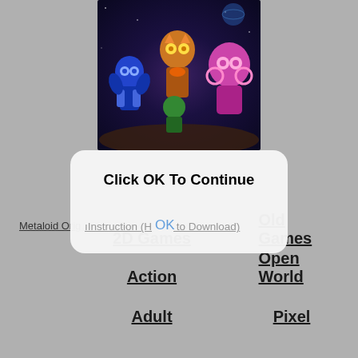[Figure (illustration): Video game screenshot showing colorful anime-style robot/mecha characters against a dark space/purple background — Metaloid game artwork]
Metaloid  Orig…
Click OK To Continue
OK
ıInstruction (H… to Download)
2D Games
Old Games
Action
Open World
Adult
Pixel